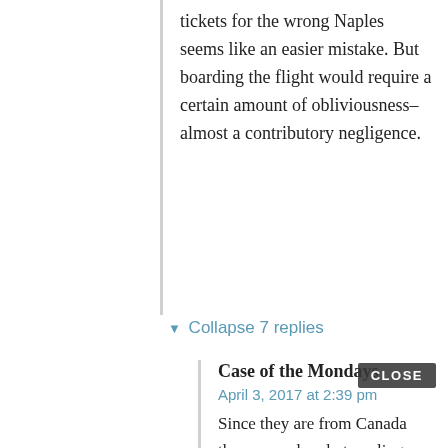tickets for the wrong Naples seems like an easier mistake. But boarding the flight would require a certain amount of obliviousness–almost a contributory negligence.
▼ Collapse 7 replies
Case of the Mondays
April 3, 2017 at 2:39 pm
Since they are from Canada they were already traveling internationally.
..Kat..
April 3, 2017 at 6:19 pm
Maybe that's part of why the manager is so angry. She feels dumb for not noticing. Seriously, just reading her plane ticket and hotel info should have tipped her off.